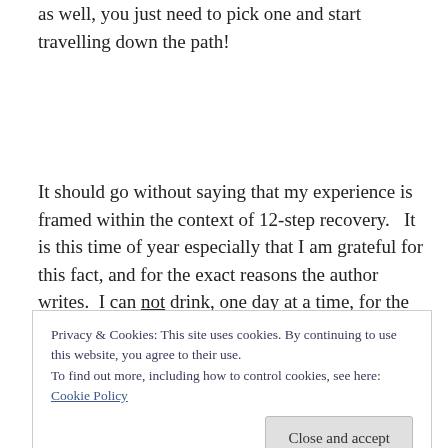as well, you just need to pick one and start travelling down the path!
It should go without saying that my experience is framed within the context of 12-step recovery.   It is this time of year especially that I am grateful for this fact, and for the exact reasons the author writes.  I can not drink, one day at a time, for the rest of my life.  And that is a miracle I
Privacy & Cookies: This site uses cookies. By continuing to use this website, you agree to their use.
To find out more, including how to control cookies, see here: Cookie Policy
Some other great perspectives came out of this morning's